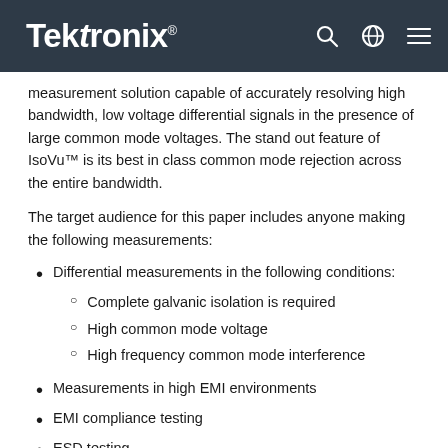Tektronix
measurement solution capable of accurately resolving high bandwidth, low voltage differential signals in the presence of large common mode voltages. The stand out feature of IsoVu™ is its best in class common mode rejection across the entire bandwidth.
The target audience for this paper includes anyone making the following measurements:
Differential measurements in the following conditions:
Complete galvanic isolation is required
High common mode voltage
High frequency common mode interference
Measurements in high EMI environments
EMI compliance testing
ESD testing
Remote measurements up to 10 meters away from the device under test without loss in measurement performance